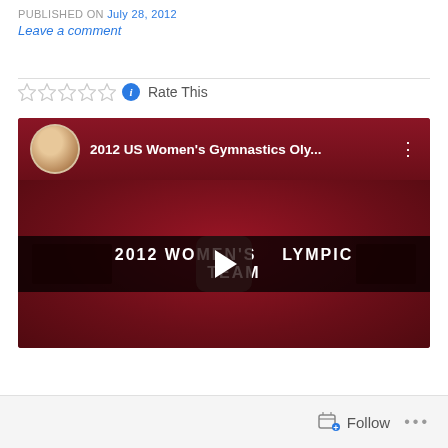PUBLISHED ON July 28, 2012
Leave a comment
[Figure (screenshot): YouTube video thumbnail for '2012 US Women's Gymnastics Oly...' showing a red background with text '2012 WOMEN'S OLYMPIC TEAM' and a play button overlay. A profile avatar of a blonde woman appears in the video header bar.]
Follow ...